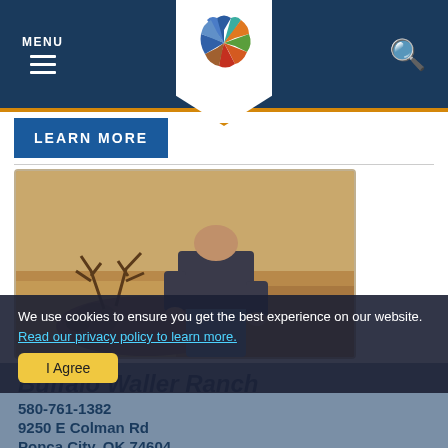MENU navigation bar with logo and search icon
[Figure (screenshot): Website screenshot showing navigation bar with MENU text, hamburger icon, colorful pinwheel/snowflake logo badge, and search icon on dark blue background]
LEARN MORE
[Figure (photo): Photo of a hunter kneeling behind a harvested whitetail deer with large antlers in a grassy field]
Buffalo Waller Ranch
580-761-1382
9250 E Colman Rd
Ponca City, OK 74604
We use cookies to ensure you get the best experience on our website. Read our privacy policy to learn more.
I Agree